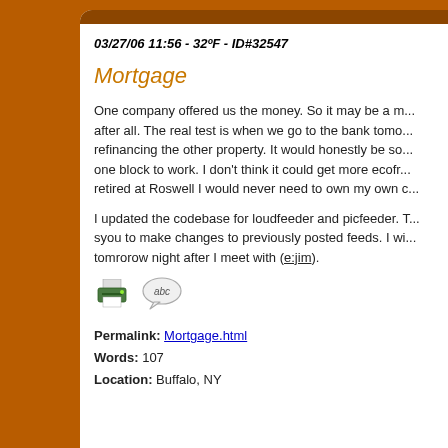03/27/06 11:56 - 32ºF - ID#32547
Mortgage
One company offered us the money. So it may be a m... after all. The real test is when we go to the bank tomo... refinancing the other property. It would honestly be so... one block to work. I don't think it could get more ecofr... retired at Roswell I would never need to own my own c...
I updated the codebase for loudfeeder and picfeeder. T... syou to make changes to previously posted feeds. I wi... tomrorow night after I meet with (e:jim).
Permalink: Mortgage.html
Words: 107
Location: Buffalo, NY